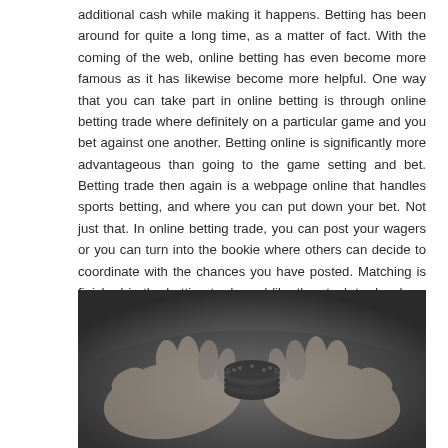additional cash while making it happens. Betting has been around for quite a long time, as a matter of fact. With the coming of the web, online betting has even become more famous as it has likewise become more helpful. One way that you can take part in online betting is through online betting trade where definitely on a particular game and you bet against one another. Betting online is significantly more advantageous than going to the game setting and bet. Betting trade then again is a webpage online that handles sports betting, and where you can put down your bet. Not just that. In online betting trade, you can post your wagers or you can turn into the bookie where others can decide to coordinate with the chances you have posted. Matching is finished in the betting trade and like the stock trade where purchasers and merchants meet to trade; the online betting trade is where bettors merge online for the matching of the wagers.
[Figure (photo): Black and white photo of hands holding poker chips on a table surface, viewed from above at close range.]